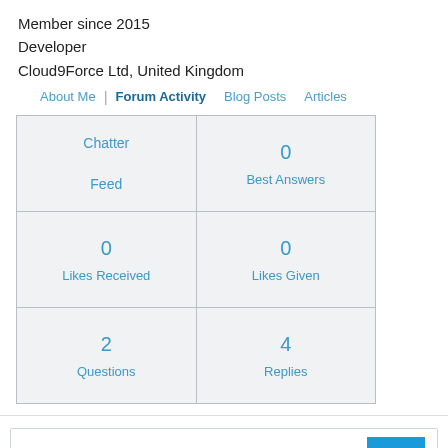Member since 2015
Developer
Cloud9Force Ltd, United Kingdom
About Me  |  Forum Activity  Blog Posts  Articles
| Chatter Feed | 0
Best Answers |
| 0
Likes Received | 0
Likes Given |
| 2
Questions | 4
Replies |
Lightning:datatable Infinite Scroll